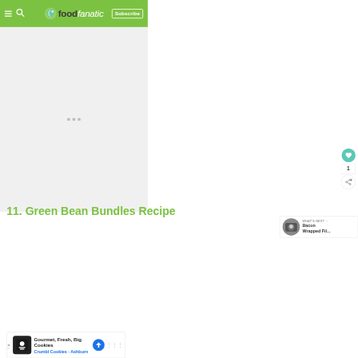foodfanatic — Subscribe
[Figure (photo): Main food image area (loading/placeholder state with three small grey squares)]
11. Green Bean Bundles Recipe
[Figure (photo): What's Next thumbnail: Bacon Wrapped Fil...]
WHAT'S NEXT → Bacon Wrapped Fil...
[Figure (other): Advertisement banner: Gourmet, Fresh, Big Cookies — Crumbl Cookies - Ashburn]